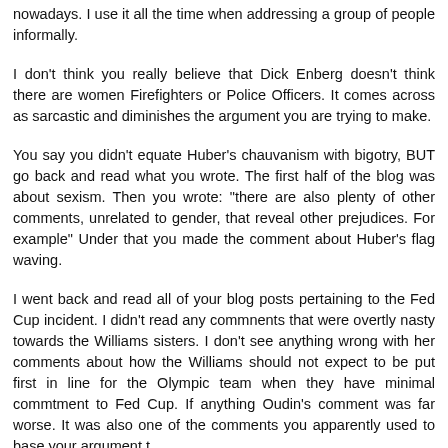nowadays. I use it all the time when addressing a group of people informally.
I don't think you really believe that Dick Enberg doesn't think there are women Firefighters or Police Officers. It comes across as sarcastic and diminishes the argument you are trying to make.
You say you didn't equate Huber's chauvanism with bigotry, BUT go back and read what you wrote. The first half of the blog was about sexism. Then you wrote: "there are also plenty of other comments, unrelated to gender, that reveal other prejudices. For example" Under that you made the comment about Huber's flag waving.
I went back and read all of your blog posts pertaining to the Fed Cup incident. I didn't read any commnents that were overtly nasty towards the Williams sisters. I don't see anything wrong with her comments about how the Williams should not expect to be put first in line for the Olympic team when they have minimal commtment to Fed Cup. If anything Oudin's comment was far worse. It was also one of the comments you apparently used to base your argument t...